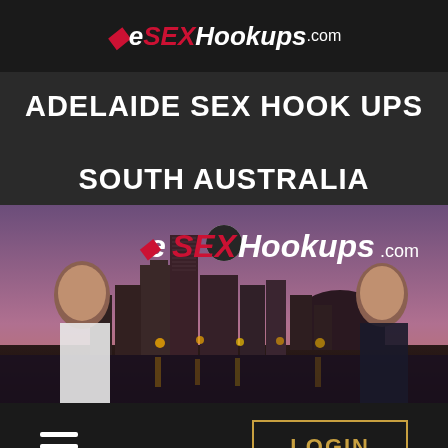eSEXHookups.com
ADELAIDE SEX HOOK UPS
SOUTH AUSTRALIA
[Figure (photo): Banner image showing the eSEXHookups.com logo over a city skyline (Adelaide) at dusk, with two women posed on either side of the cityscape.]
LOGIN